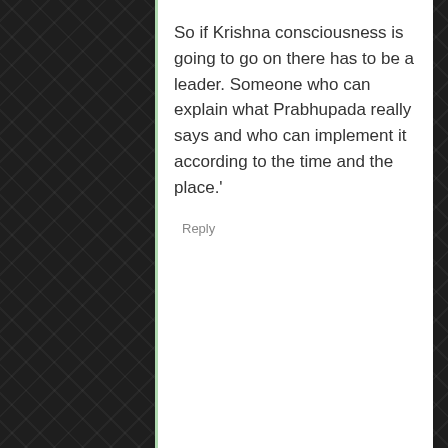So if Krishna consciousness is going to go on there has to be a leader. Someone who can explain what Prabhupada really says and who can implement it according to the time and the place.'
Reply
Advaita says: February 15, 2017 at 9:14 am
Hare Krishna Prabhu,
Dandvat Pranam,

I read your explanation on the Guru tatva and had one question which if you answer would be great understanding for me.
In a scenario where there is no Qualified disciple, you suggest that H.D.G Srila